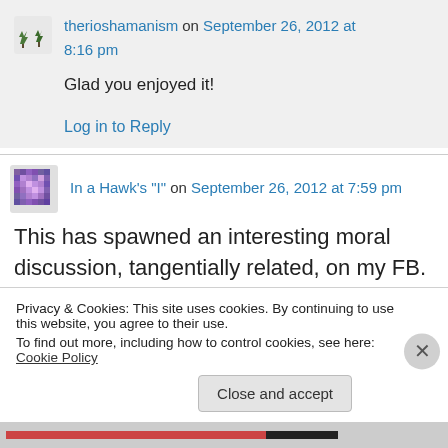therioshamanism on September 26, 2012 at 8:16 pm
Glad you enjoyed it!
Log in to Reply
In a Hawk's "I" on September 26, 2012 at 7:59 pm
This has spawned an interesting moral discussion, tangentially related, on my FB. I love
Privacy & Cookies: This site uses cookies. By continuing to use this website, you agree to their use.
To find out more, including how to control cookies, see here: Cookie Policy
Close and accept